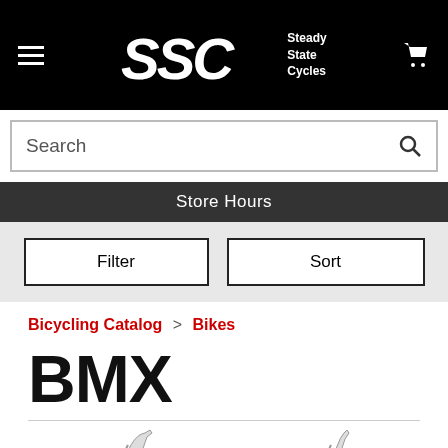[Figure (logo): SSC Steady State Cycles logo on black header with hamburger menu and cart icon]
Search
Store Hours
Filter
Sort
Bicycling Catalog > Bikes
BMX
[Figure (photo): Partial view of two BMX bikes at the bottom of the page]